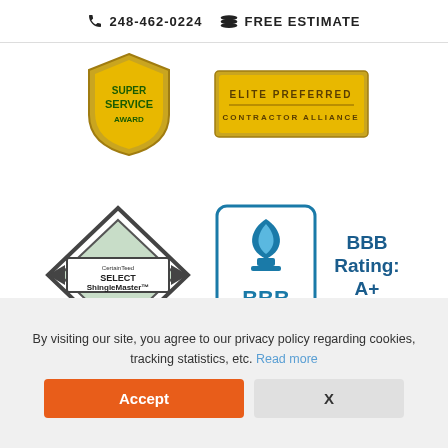248-462-0224  FREE ESTIMATE
[Figure (logo): Angie's List Super Service Award badge (gold shield shape)]
[Figure (logo): Elite Preferred Contractor Alliance gold badge]
[Figure (logo): CertainTeed SELECT ShingleMaster diamond-shaped badge]
[Figure (logo): BBB Accredited Business logo with flame/torch icon in teal]
BBB Rating: A+
As of 8/29/2022
Click for Profile
By visiting our site, you agree to our privacy policy regarding cookies, tracking statistics, etc. Read more
Accept
X